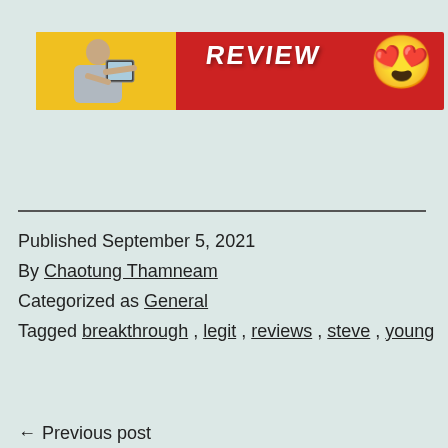[Figure (illustration): Blog post banner image with red background. Left side has yellow background with a person holding a tablet. Center-right has bold white text 'REVIEW' in capital letters. Far right has a heart-eyes emoji face.]
Published September 5, 2021
By Chaotung Thamneam
Categorized as General
Tagged breakthrough, legit, reviews, steve, young
← Previous post